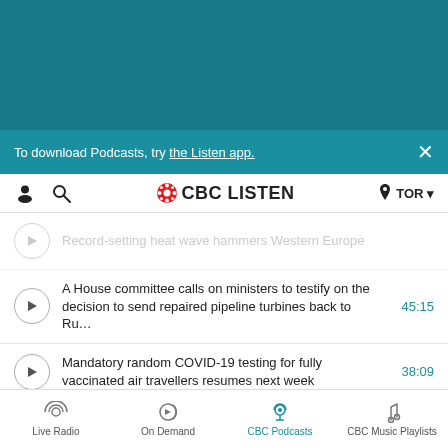[Figure (screenshot): Teal header banner area of CBC Listen app]
To download Podcasts, try the Listen app.
[Figure (logo): CBC LISTEN logo with CBC gem icon, navigation icons for user and search, location TOR]
Record-setting heat wave hammers Western Europe
A House committee calls on ministers to testify on the decision to send repaired pipeline turbines back to Ru... 45:15
Mandatory random COVID-19 testing for fully vaccinated air travellers resumes next week 38:09
The Bank of Canada hikes interest rates for the 4th time this year 34:31
Canada's premiers demand a meeting with the Feds to 36:54
Live Radio | On Demand | CBC Podcasts | CBC Music Playlists